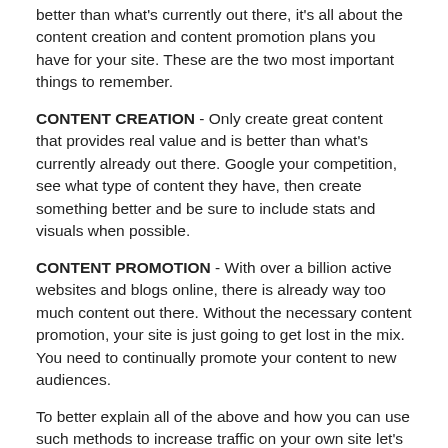better than what's currently out there, it's all about the content creation and content promotion plans you have for your site. These are the two most important things to remember.
CONTENT CREATION - Only create great content that provides real value and is better than what's currently already out there. Google your competition, see what type of content they have, then create something better and be sure to include stats and visuals when possible.
CONTENT PROMOTION - With over a billion active websites and blogs online, there is already way too much content out there. Without the necessary content promotion, your site is just going to get lost in the mix. You need to continually promote your content to new audiences.
To better explain all of the above and how you can use such methods to increase traffic on your own site let's cover the many components that go into a great marketing and branding plan to grow a website or blog. Not only will content creation come into play, it's also how much effort you put into your content promotion as well.
In the world of blogging, this can be done in a number of